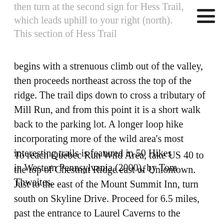then turn at the second sign for Hess Trail, which leads uphill to your right (north). This section of Hess Trail begins with a strenuous climb out of the valley, then proceeds northeast across the top of the ridge. The trail dips down to cross a tributary of Mill Run, and from this point it is a short walk back to the parking lot. A longer loop hike incorporating more of the wild area's most interesting trails is featured in 50 Hikes in Western Pennsylvania (2000), by Tom Thwaites.
To reach Quebec Run Wild Area, take US 40 to the top of Chestnut Ridge east of Uniontown. Just to the east of the Mount Summit Inn, turn south on Skyline Drive. Proceed for 6.5 miles, past the entrance to Laurel Caverns to the junction with Quebec Road. From this junction, Skyline Drive to the south (via Mud Pike) and Quebec Road to the east form the boundaries of the wild area, and both lead to trailheads. Developed parking areas are shown on the wild area map. The second through are shown